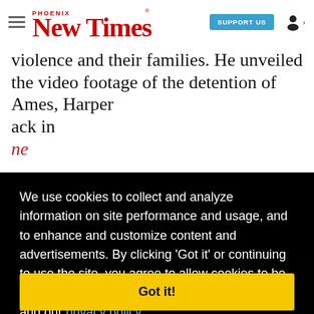Phoenix New Times — SUPPORT US
violence and their families. He unveiled the video footage of the detention of Ames, Harper ... ack in ... ne
[Figure (photo): Person in red shirt photographing with camera on tripod outdoors]
We use cookies to collect and analyze information on site performance and usage, and to enhance and customize content and advertisements. By clicking 'Got it' or continuing to use the site, you agree to allow cookies to be placed. To find out more, visit our cookies policy and our privacy policy.
Got it!